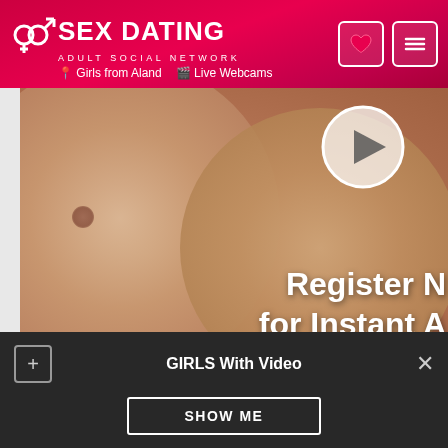SEX DATING ADULT SOCIAL NETWORK | Girls from Aland | Live Webcams
[Figure (screenshot): Video player showing adult content with overlay text 'Register NO for Instant Ac' and video controls at bottom]
Ads Details | Reviews (0)
Location: | 30 years old
GIRLS With Video | SHOW ME